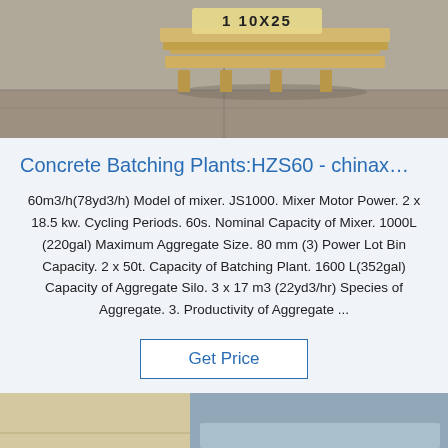[Figure (photo): Photo of warehouse floor with wooden pallet stamped '1 10X25']
Concrete Batching Plants:HZS60 - chinax…
60m3/h(78yd3/h) Model of mixer. JS1000. Mixer Motor Power. 2 x 18.5 kw. Cycling Periods. 60s. Nominal Capacity of Mixer. 1000L (220gal) Maximum Aggregate Size. 80 mm (3) Power Lot Bin Capacity. 2 x 50t. Capacity of Batching Plant. 1600 L(352gal) Capacity of Aggregate Silo. 3 x 17 m3 (22yd3/hr) Species of Aggregate. 3. Productivity of Aggregate ...
Get Price
[Figure (photo): Photo of industrial machinery or metal components, with a blue 'TOP' badge with water drop dots in the bottom right corner]